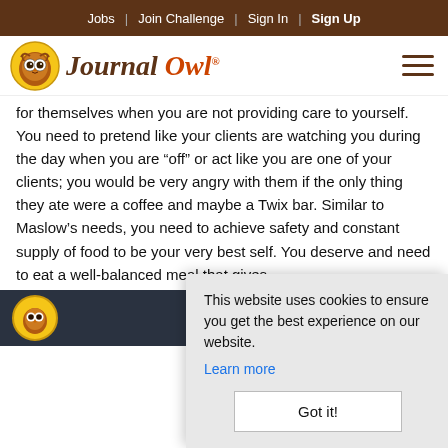Jobs | Join Challenge | Sign In | Sign Up
[Figure (logo): Journal Owl logo with owl icon and brand name in serif italic font]
for themselves when you are not providing care to yourself. You need to pretend like your clients are watching you during the day when you are “off” or act like you are one of your clients; you would be very angry with them if the only thing they ate were a coffee and maybe a Twix bar. Similar to Maslow’s needs, you need to achieve safety and constant supply of food to be your very best self. You deserve and need to eat a well-balanced meal that gives
This website uses cookies to ensure you get the best experience on our website. Learn more Got it!